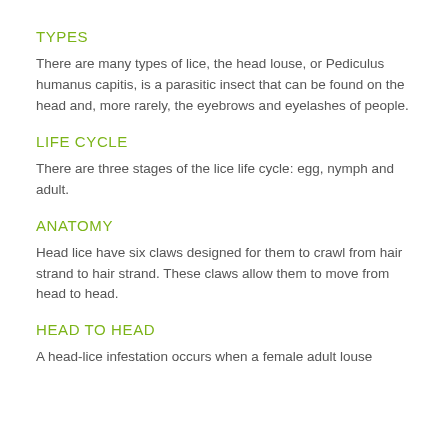TYPES
There are many types of lice, the head louse, or Pediculus humanus capitis, is a parasitic insect that can be found on the head and, more rarely, the eyebrows and eyelashes of people.
LIFE CYCLE
There are three stages of the lice life cycle: egg, nymph and adult.
ANATOMY
Head lice have six claws designed for them to crawl from hair strand to hair strand. These claws allow them to move from head to head.
HEAD TO HEAD
A head-lice infestation occurs when a female adult louse